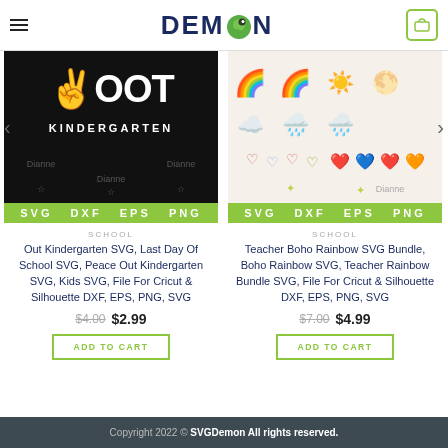DEMON (SVGDemon store logo with navigation)
[Figure (screenshot): Out Kindergarten SVG product image on black background with format bar SVG DXF EPS PNG]
[Figure (screenshot): Teacher Boho Rainbow SVG Bundle product image with colorful rainbows, sun, clouds, hearts on light background with format bar SVG DXF EPS PNG]
SCHOOL
Out Kindergarten SVG, Last Day Of School SVG, Peace Out Kindergarten SVG, Kids SVG, File For Cricut & Silhouette DXF, EPS, PNG, SVG
$4.00  $2.99
SCHOOL
Teacher Boho Rainbow SVG Bundle, Boho Rainbow SVG, Teacher Rainbow Bundle SVG, File For Cricut & Silhouette DXF, EPS, PNG, SVG
$7.00  $4.99
Copyright 2022 © SVGDemon All rights reserved.